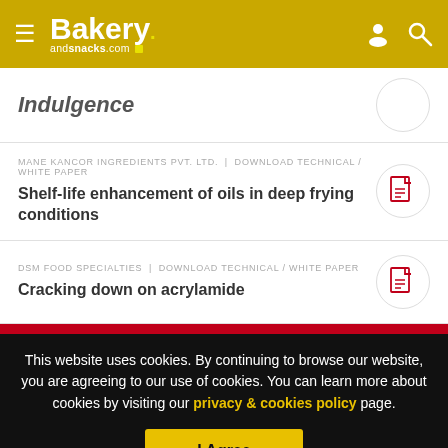Bakery andsnacks.com
Indulgence
MANE KANCOR INGREDIENTS PVT. LTD. | DOWNLOAD TECHNICAL / WHITE PAPER — Shelf-life enhancement of oils in deep frying conditions
DSM FOOD SPECIALTIES | DOWNLOAD TECHNICAL / WHITE PAPER — Cracking down on acrylamide
This website uses cookies. By continuing to browse our website, you are agreeing to our use of cookies. You can learn more about cookies by visiting our privacy & cookies policy page.
I Agree